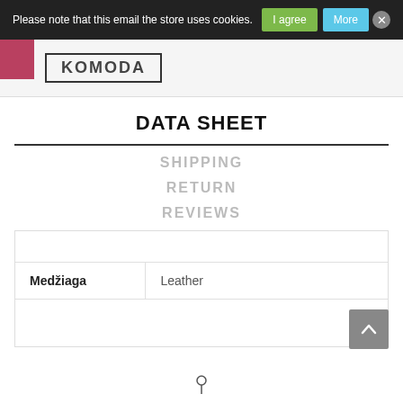Please note that this email the store uses cookies. | I agree | More | X
[Figure (screenshot): Website navigation bar with KOMODA logo in a bordered box, pink block on left side]
DATA SHEET
SHIPPING
RETURN
REVIEWS
| Medžiaga | Leather |
| --- | --- |
| Medžiaga | Leather |